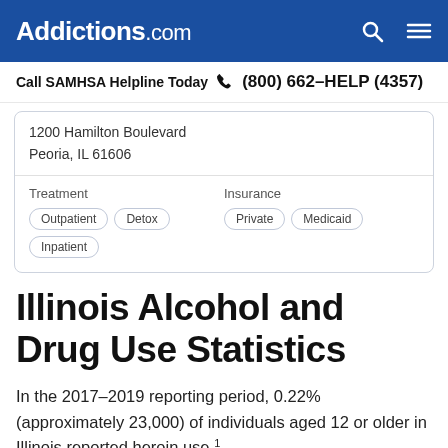Addictions.com
Call SAMHSA Helpline Today  (800) 662-HELP (4357)
1200 Hamilton Boulevard
Peoria, IL 61606
| Treatment | Insurance |
| --- | --- |
| Outpatient  Detox  Inpatient | Private  Medicaid |
Illinois Alcohol and Drug Use Statistics
In the 2017-2019 reporting period, 0.22% (approximately 23,000) of individuals aged 12 or older in Illinois reported heroin use.1